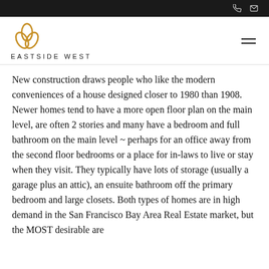EASTSIDE WEST
New construction draws people who like the modern conveniences of a house designed closer to 1980 than 1908. Newer homes tend to have a more open floor plan on the main level, are often 2 stories and many have a bedroom and full bathroom on the main level ~ perhaps for an office away from the second floor bedrooms or a place for in-laws to live or stay when they visit. They typically have lots of storage (usually a garage plus an attic), an ensuite bathroom off the primary bedroom and large closets. Both types of homes are in high demand in the San Francisco Bay Area Real Estate market, but the MOST desirable are